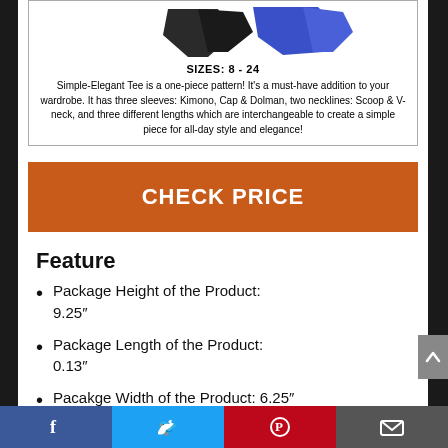[Figure (photo): Product image showing clothing pattern pieces - black fabric and blue fabric samples]
SIZES: 8 - 24
Simple-Elegant Tee is a one-piece pattern! It's a must-have addition to your wardrobe. It has three sleeves: Kimono, Cap & Dolman, two necklines: Scoop & V-neck, and three different lengths which are interchangeable to create a simple piece for all-day style and elegance!
[Figure (other): Orange button with text CHECK PRICE]
Feature
Package Height of the Product: 9.25″
Package Length of the Product: 0.13″
Pacakge Width of the Product: 6.25″
Country of Origin: United States
Facebook | Twitter | Pinterest | Email